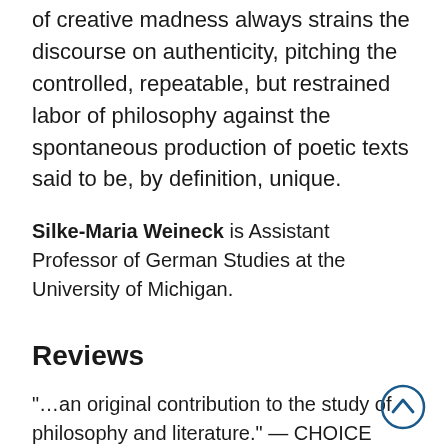of creative madness always strains the discourse on authenticity, pitching the controlled, repeatable, but restrained labor of philosophy against the spontaneous production of poetic texts said to be, by definition, unique.
Silke-Maria Weineck is Assistant Professor of German Studies at the University of Michigan.
Reviews
"…an original contribution to the study of philosophy and literature." — CHOICE
"This book is a major contribution to the